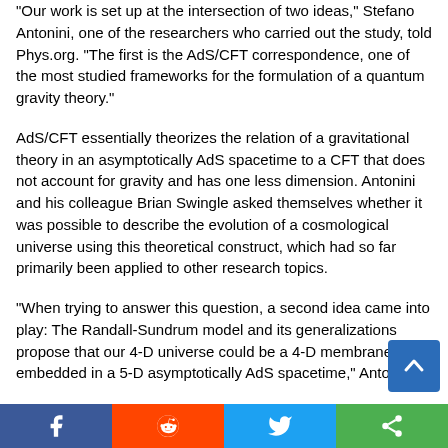"Our work is set up at the intersection of two ideas," Stefano Antonini, one of the researchers who carried out the study, told Phys.org. "The first is the AdS/CFT correspondence, one of the most studied frameworks for the formulation of a quantum gravity theory."
AdS/CFT essentially theorizes the relation of a gravitational theory in an asymptotically AdS spacetime to a CFT that does not account for gravity and has one less dimension. Antonini and his colleague Brian Swingle asked themselves whether it was possible to describe the evolution of a cosmological universe using this theoretical construct, which had so far primarily been applied to other research topics.
"When trying to answer this question, a second idea came into play: The Randall-Sundrum model and its generalizations propose that our 4-D universe could be a 4-D membrane embedded in a 5-D asymptotically AdS spacetime," Antonini